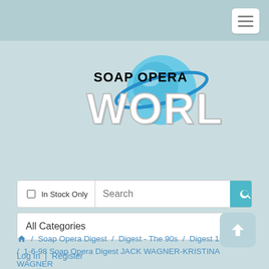[Figure (logo): Soap Opera World logo with globe graphic and blue orbital ring. 'SOAP OPERA' in black bold text above large white 'WORLD' letters with blue globe behind.]
In Stock Only  Search
All Categories
🏠 / Soap Opera Digest / Digest - The 90s / Digest 1998 / 1-6-98 Soap Opera Digest JACK WAGNER-KRISTINA WAGNER
Log In | Register